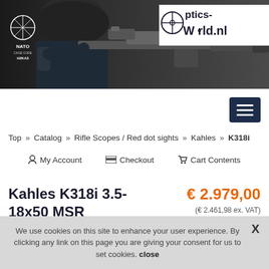[Figure (photo): Header banner showing a soldier aiming a rifle with a red dot sight and scope. NATO logo and cage code on the left, Optics-World.nl logo on the right.]
Top » Catalog » Rifle Scopes / Red dot sights » Kahles » K318i
My Account   Checkout   Cart Contents
Kahles K318i 3.5-18x50 MSR
€ 2.979,00
(€ 2.461,98 ex. VAT)
We use cookies on this site to enhance your user experience. By clicking any link on this page you are giving your consent for us to set cookies. close